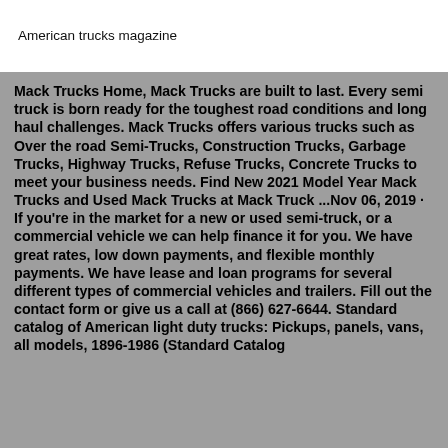American trucks magazine
Mack Trucks Home, Mack Trucks are built to last. Every semi truck is born ready for the toughest road conditions and long haul challenges. Mack Trucks offers various trucks such as Over the road Semi-Trucks, Construction Trucks, Garbage Trucks, Highway Trucks, Refuse Trucks, Concrete Trucks to meet your business needs. Find New 2021 Model Year Mack Trucks and Used Mack Trucks at Mack Truck ...Nov 06, 2019 · If you're in the market for a new or used semi-truck, or a commercial vehicle we can help finance it for you. We have great rates, low down payments, and flexible monthly payments. We have lease and loan programs for several different types of commercial vehicles and trailers. Fill out the contact form or give us a call at (866) 627-6644. Standard catalog of American light duty trucks: Pickups, panels, vans, all models, 1896-1986 (Standard Catalog